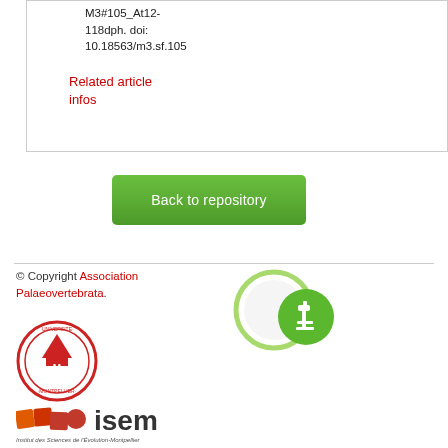M3#105_At12-118dph. doi: 10.18563/m3.sf.105
Related article infos
Back to repository
© Copyright Association Palaeovertebrata.
[Figure (logo): Open access microscope logo with green circle]
[Figure (logo): Université Montpellier circular seal logo]
[Figure (logo): ISEM Institut des Sciences de l'Evolution-Montpellier logo]
Institut des Sciences de l'Évolution-Montpellier